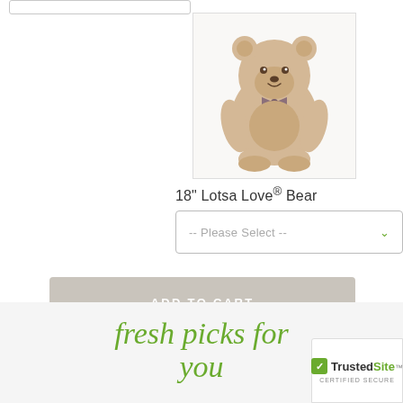[Figure (photo): Product photo of 18 inch Lotsa Love Bear stuffed animal, a light tan teddy bear with bow tie, seated pose, shown in a bordered product image frame]
18" Lotsa Love® Bear
[Figure (screenshot): Please Select dropdown selector widget with chevron]
ADD TO CART
[Figure (logo): TrustedSite Certified Secure badge]
fresh picks for you
[Figure (logo): TrustedSite Certified Secure badge at bottom right]